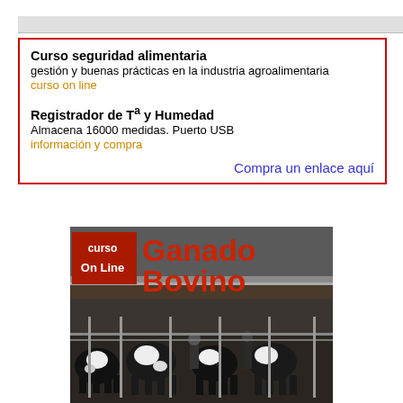Curso seguridad alimentaria
gestión y buenas prácticas en la industria agroalimentaria
curso on line

Registrador de Tª y Humedad
Almacena 16000 medidas. Puerto USB
información y compra

Compra un enlace aquí
[Figure (photo): Banner image for an online course on Ganado Bovino (Bovine Cattle). Features a dark red box with 'curso On Line' text on the left, large red text 'Ganado Bovino' on the right, and a photograph of cattle inside a barn facility below.]